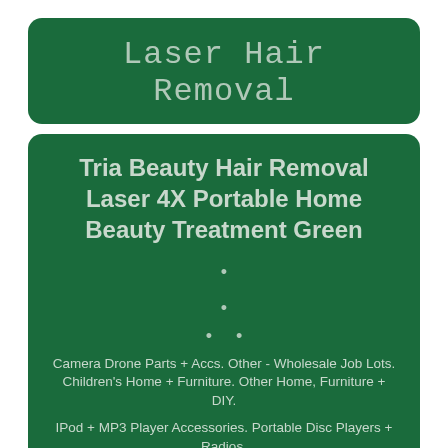Laser Hair Removal
Tria Beauty Hair Removal Laser 4X Portable Home Beauty Treatment Green
Camera Drone Parts + Accs. Other - Wholesale Job Lots. Children's Home + Furniture. Other Home, Furniture + DIY.
IPod + MP3 Player Accessories. Portable Disc Players + Radios.
Home Audio + HiFi Separates. DVD, Blu-ray + Home Cinema. TV Reception + Set-Top Boxes. TV + Home Audio Accessories.
TV + Home Audio Parts. Audio Docks + Mini Speakers. Tablet + eBook Reader Accs.